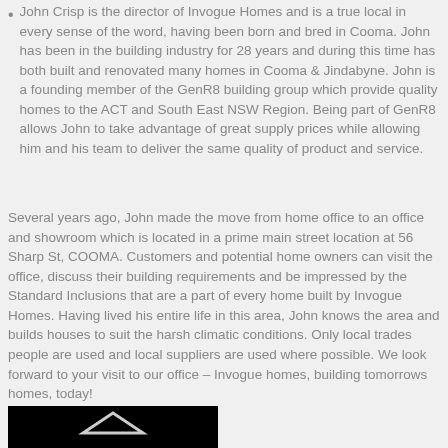John Crisp is the director of Invogue Homes and is a true local in every sense of the word, having been born and bred in Cooma. John has been in the building industry for 28 years and during this time has both built and renovated many homes in Cooma & Jindabyne. John is a founding member of the GenR8 building group which provide quality homes to the ACT and South East NSW Region. Being part of GenR8 allows John to take advantage of great supply prices while allowing him and his team to deliver the same quality of product and service.
Several years ago, John made the move from home office to an office and showroom which is located in a prime main street location at 56 Sharp St, COOMA. Customers and potential home owners can visit the office, discuss their building requirements and be impressed by the Standard Inclusions that are a part of every home built by Invogue Homes. Having lived his entire life in this area, John knows the area and builds houses to suit the harsh climatic conditions. Only local trades people are used and local suppliers are used where possible. We look forward to your visit to our office – Invogue homes, building tomorrows homes, today!
[Figure (logo): Black background with a white house/roof logo mark at the bottom of the page]